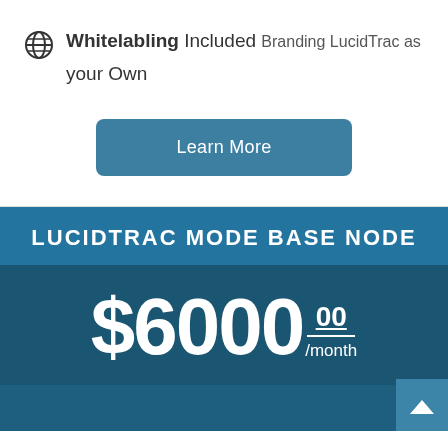Whitelabling Included Branding LucidTrac as your Own
Learn More
LUCIDTRAC MODE BASE NODE
$6000.00 /month